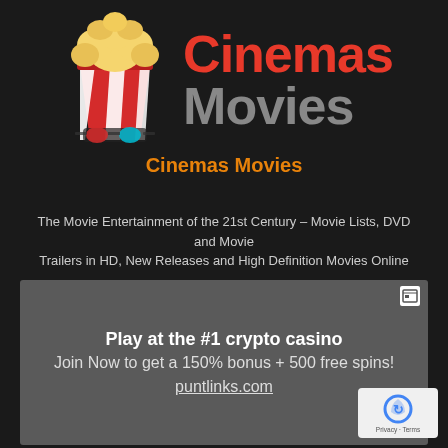[Figure (logo): Cinemas Movies logo with popcorn bucket and 3D glasses illustration, brand name in red and grey, subtitle in orange]
The Movie Entertainment of the 21st Century – Movie Lists, DVD and Movie Trailers in HD, New Releases and High Definition Movies Online
[Figure (infographic): Advertisement banner: Play at the #1 crypto casino. Join Now to get a 150% bonus + 500 free spins! puntlinks.com]
[Figure (logo): Google reCAPTCHA badge with Privacy and Terms links]